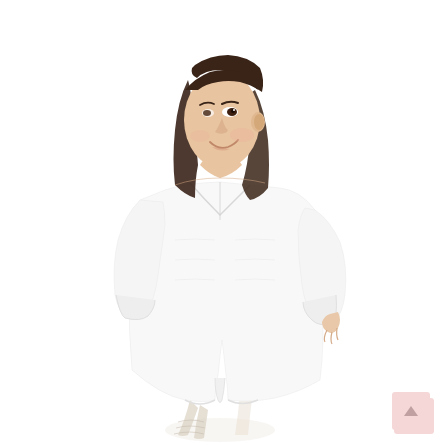[Figure (photo): A woman wearing a loose-fitting white long-sleeve V-neck dress/tunic that falls to knee length, with a curved hem at the bottom. She is posed in a three-quarter side view, smiling, with long dark hair, against a white background. A small pink scroll-to-top button is visible in the lower right corner.]